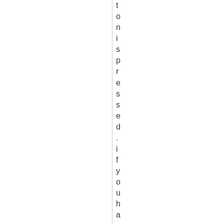tonispressed.ifyouhavethetimet